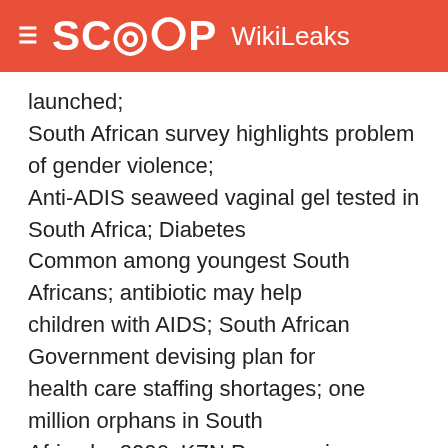SCOOP WikiLeaks
launched; South African survey highlights problem of gender violence; Anti-ADIS seaweed vaginal gel tested in South Africa; Diabetes Common among youngest South Africans; antibiotic may help children with AIDS; South African Government devising plan for health care staffing shortages; one million orphans in South Africa by 2006; KZN Progress in HIV/AIDS; metropolitan Tshwane's fight against HIV/AIDS; and update on Gauteng's HIV